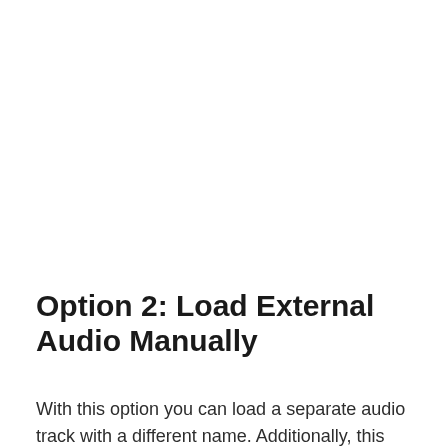Option 2: Load External Audio Manually
With this option you can load a separate audio track with a different name. Additionally, this allows you to